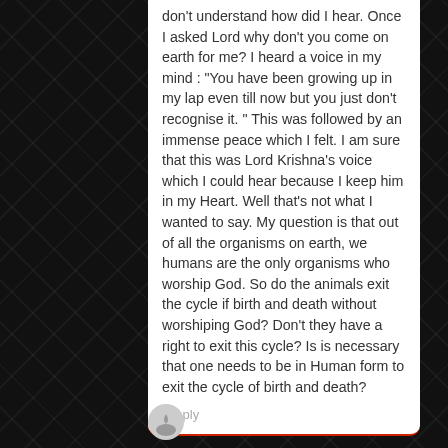don't understand how did I hear. Once I asked Lord why don't you come on earth for me? I heard a voice in my mind : "You have been growing up in my lap even till now but you just don't recognise it. " This was followed by an immense peace which I felt. I am sure that this was Lord Krishna's voice which I could hear because I keep him in my Heart. Well that's not what I wanted to say. My question is that out of all the organisms on earth, we humans are the only organisms who worship God. So do the animals exit the cycle if birth and death without worshiping God? Don't they have a right to exit this cycle? Is is necessary that one needs to be in Human form to exit the cycle of birth and death?
Reply